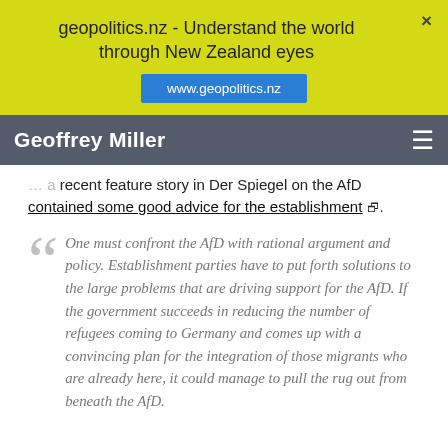geopolitics.nz - Understand the world through New Zealand eyes
www.geopolitics.nz
Geoffrey Miller
… a recent feature story in Der Spiegel on the AfD contained some good advice for the establishment 🔗.
One must confront the AfD with rational argument and policy. Establishment parties have to put forth solutions to the large problems that are driving support for the AfD. If the government succeeds in reducing the number of refugees coming to Germany and comes up with a convincing plan for the integration of those migrants who are already here, it could manage to pull the rug out from beneath the AfD.